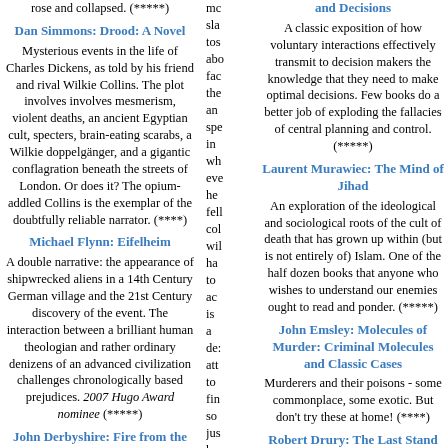rose and collapsed. (*****)
Dan Simmons: Drood: A Novel
Mysterious events in the life of Charles Dickens, as told by his friend and rival Wilkie Collins. The plot involves involves mesmerism, violent deaths, an ancient Egyptian cult, specters, brain-eating scarabs, a Wilkie doppelgänger, and a gigantic conflagration beneath the streets of London. Or does it? The opium-addled Collins is the exemplar of the doubtfully reliable narrator. (****)
Michael Flynn: Eifelheim
A double narrative: the appearance of shipwrecked aliens in a 14th Century German village and the 21st Century discovery of the event. The interaction between a brilliant human theologian and rather ordinary denizens of an advanced civilization challenges chronologically based prejudices. 2007 Hugo Award nominee (*****)
John Derbyshire: Fire from the Sun
Three-decker novel about the...
mc sla tos ab fac the an sp in wh ev he fell co wil ha to ac is a de att to fin so ju ho fe fo ac of kn (or pe sin
and Decisions
A classic exposition of how voluntary interactions effectively transmit to decision makers the knowledge that they need to make optimal decisions. Few books do a better job of exploding the fallacies of central planning and control. (*****)
Laurent Murawiec: The Mind of Jihad
An exploration of the ideological and sociological roots of the cult of death that has grown up within (but is not entirely of) Islam. One of the half dozen books that anyone who wishes to understand our enemies ought to read and ponder. (*****)
John Emsley: Molecules of Murder: Criminal Molecules and Classic Cases
Murderers and their poisons - some commonplace, some exotic. But don't try these at home! (****)
Robert Drury: The Last Stand of Fox Company: A True Story of U.S. Marines in Combat